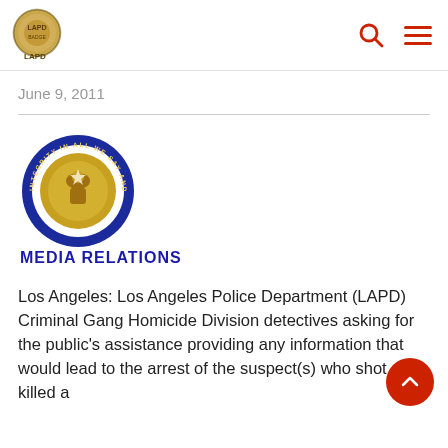LAPD logo and navigation header
June 9, 2011
[Figure (logo): LAPD Media Relations badge logo — circular blue badge with text 'INTEGRITY IN ALL WE SAY AND DO' around the perimeter and LAPD badge in center, below it text 'MEDIA RELATIONS' in bold blue capital letters]
Los Angeles: Los Angeles Police Department (LAPD) Criminal Gang Homicide Division detectives asking for the public's assistance providing any information that would lead to the arrest of the suspect(s) who shot and killed a